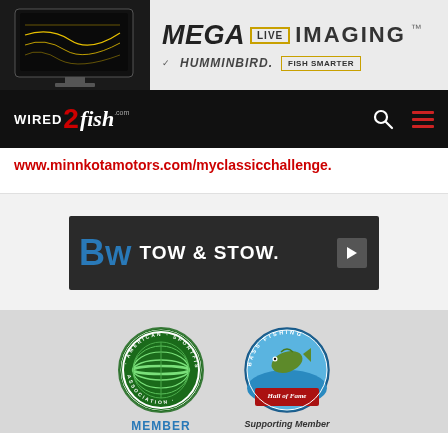[Figure (screenshot): Humminbird Mega Live Imaging advertisement banner with fish finder device image on left and 'MEGA LIVE IMAGING - Humminbird FISH SMARTER' text on right]
[Figure (screenshot): Wired2Fish website navigation bar with logo, search icon, and hamburger menu on black background]
www.minnkotamotors.com/myclassicchallenge.
[Figure (screenshot): B&W Tow & Stow advertisement banner on dark background]
[Figure (logo): American Sportfishing Association Member logo — circular green striped globe logo with text around the border]
[Figure (logo): Bass Fishing Hall of Fame Supporting Member logo — circular badge with bass fish image and red 'Hall of Fame' ribbon]